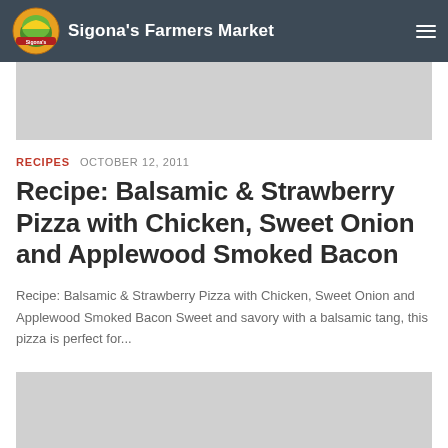Sigona's Farmers Market
[Figure (other): Gray banner/advertisement placeholder area]
RECIPES  OCTOBER 12, 2011
Recipe: Balsamic & Strawberry Pizza with Chicken, Sweet Onion and Applewood Smoked Bacon
Recipe: Balsamic & Strawberry Pizza with Chicken, Sweet Onion and Applewood Smoked Bacon Sweet and savory with a balsamic tang, this pizza is perfect for...
[Figure (photo): Gray image placeholder at bottom of page]